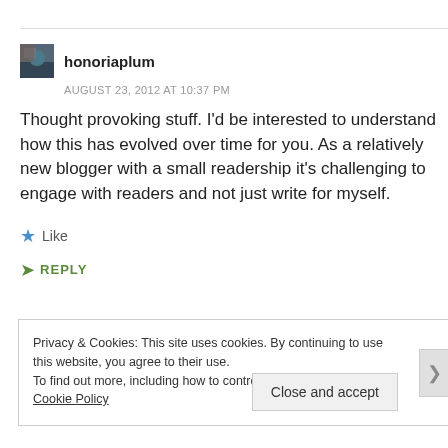honoriaplum
AUGUST 23, 2012 AT 10:37 PM
Thought provoking stuff. I'd be interested to understand how this has evolved over time for you. As a relatively new blogger with a small readership it's challenging to engage with readers and not just write for myself.
Like
REPLY
Privacy & Cookies: This site uses cookies. By continuing to use this website, you agree to their use.
To find out more, including how to control cookies, see here: Cookie Policy
Close and accept